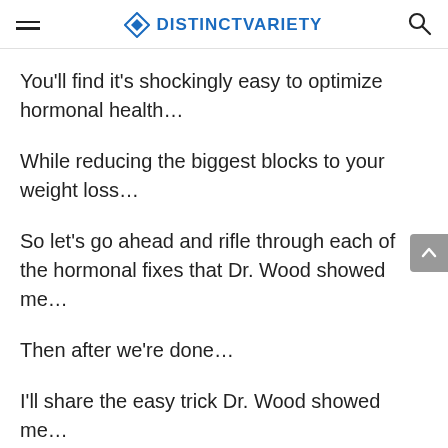DISTINCTVARIETY
You'll find it's shockingly easy to optimize hormonal health…
While reducing the biggest blocks to your weight loss…
So let's go ahead and rifle through each of the hormonal fixes that Dr. Wood showed me…
Then after we're done…
I'll share the easy trick Dr. Wood showed me…